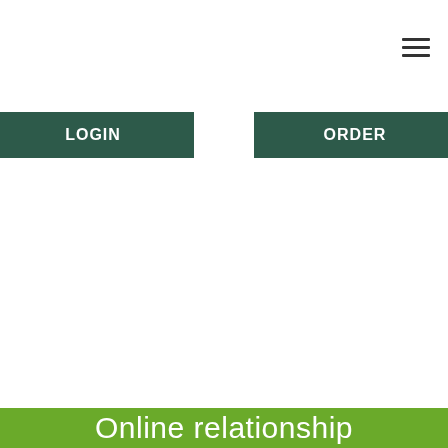[Figure (screenshot): Hamburger menu icon (three horizontal lines) in top-right corner of a website header]
[Figure (screenshot): Navigation bar with two buttons: LOGIN and ORDER, styled with dark green background]
Online relationship